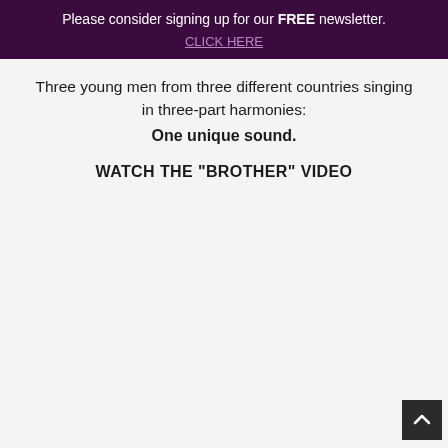Please consider signing up for our FREE newsletter.
CLICK HERE
Three young men from three different countries singing in three-part harmonies:
One unique sound.
WATCH THE "BROTHER" VIDEO